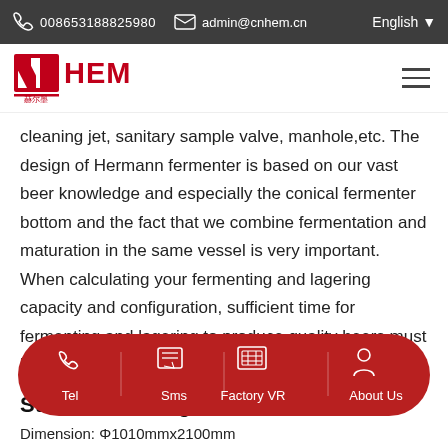008653188825980  admin@cnhem.cn  English
cleaning jet, sanitary sample valve, manhole,etc. The design of Hermann fermenter is based on our vast beer knowledge and especially the conical fermenter bottom and the fact that we combine fermentation and maturation in the same vessel is very important. When calculating your fermenting and lagering capacity and configuration, sufficient time for fermenting and lagering to produce quality beers must be taken into consideration.
Standard Configuration
Dimension: Φ1010mmx2100mm